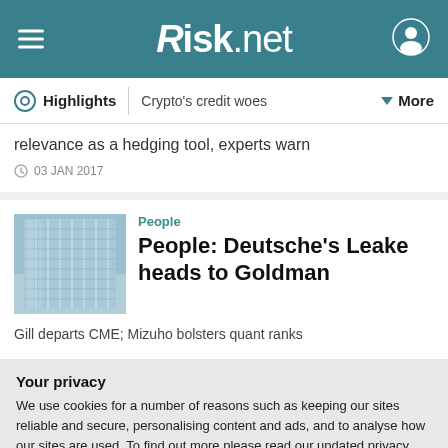Risk.net
Highlights | Crypto's credit woes  More
relevance as a hedging tool, experts warn
03 JAN 2017
People
People: Deutsche's Leake heads to Goldman
Gill departs CME; Mizuho bolsters quant ranks
Your privacy
We use cookies for a number of reasons such as keeping our sites reliable and secure, personalising content and ads, and to analyse how our sites are used. To find out more please read our updated privacy policy.
ACCEPT AND CONTINUE